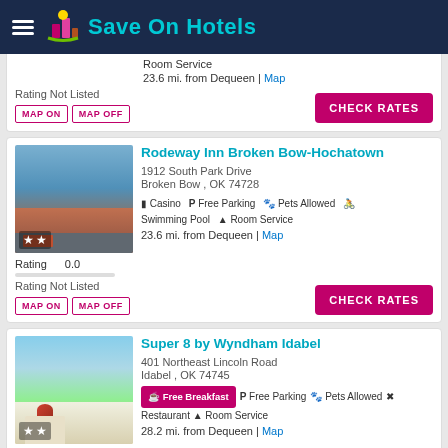Save On Hotels
Room Service
23.6 mi. from Dequeen | Map
Rating Not Listed
MAP ON  MAP OFF
CHECK RATES
Rodeway Inn Broken Bow-Hochatown
1912 South Park Drive
Broken Bow , OK 74728
Casino  Free Parking  Pets Allowed  Swimming Pool  Room Service
23.6 mi. from Dequeen | Map
Rating 0.0
Rating Not Listed
MAP ON  MAP OFF
CHECK RATES
Super 8 by Wyndham Idabel
401 Northeast Lincoln Road
Idabel , OK 74745
Free Breakfast  Free Parking  Pets Allowed  Restaurant  Room Service
28.2 mi. from Dequeen | Map
Rating 0.0